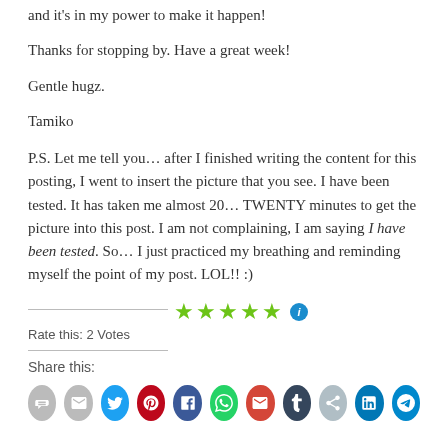and it's in my power to make it happen!
Thanks for stopping by. Have a great week!
Gentle hugz.
Tamiko
P.S. Let me tell you… after I finished writing the content for this posting, I went to insert the picture that you see. I have been tested. It has taken me almost 20… TWENTY minutes to get the picture into this post. I am not complaining, I am saying I have been tested. So… I just practiced my breathing and reminding myself the point of my post. LOL!! :)
Rate this:2 Votes
Share this: